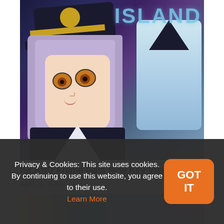[Figure (illustration): Anime key visual for ISLAND anime showing two anime characters — a girl in a dark captain's hat with golden band and amber/yellow eyes with lavender hair in the foreground, and a second character in blue/white outfit to the right, with a ghost/frog-like creature and the ISLAND logo in teal text in the upper right corner]
ISLAND Anime Gets New Key Visual
April 21, 2018
[Figure (illustration): Partial view of a second article image showing anime characters with yellow/blue/purple color scheme, cropped at bottom of visible area]
Privacy & Cookies: This site uses cookies. By continuing to use this website, you agree to their use. Learn More